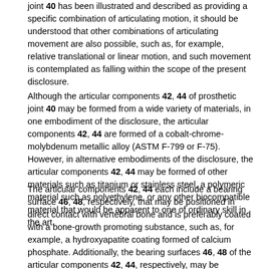joint 40 has been illustrated and described as providing a specific combination of articulating motion, it should be understood that other combinations of articulating movement are also possible, such as, for example, relative translational or linear motion, and such movement is contemplated as falling within the scope of the present disclosure.
Although the articular components 42, 44 of prosthetic joint 40 may be formed from a wide variety of materials, in one embodiment of the disclosure, the articular components 42, 44 are formed of a cobalt-chrome-molybdenum metallic alloy (ASTM F-799 or F-75). However, in alternative embodiments of the disclosure, the articular components 42, 44 may be formed of other materials such as titanium or stainless steel, a polymeric material such as polyethylene, or any other biocompatible material that would be apparent to one of ordinary skill in the art.
The articular components 42, 44 each include a bearing surface 46, 48, respectively, that may be positioned in direct contact with vertebral bone and is preferably coated with a bone-growth promoting substance, such as, for example, a hydroxyapatite coating formed of calcium phosphate. Additionally, the bearing surfaces 46, 48 of the articular components 42, 44, respectively, may be roughened prior to being coated with the bone-growth promoting substance to further enhance bone on-growth. Such surface roughening may be accomplished by way of, for example, acid etching, knurling, application of a bead coating, or other methods of roughening that